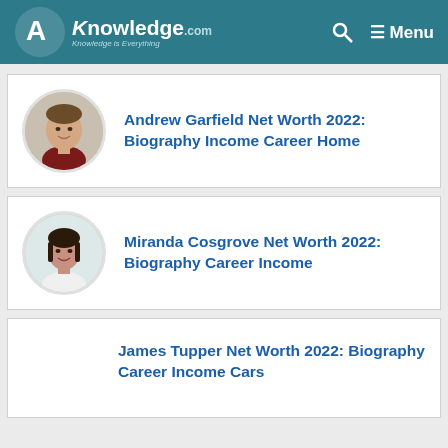AKnowledge.com — Knowledge is Everything — Menu
Andrew Garfield Net Worth 2022: Biography Income Career Home
Miranda Cosgrove Net Worth 2022: Biography Career Income
James Tupper Net Worth 2022: Biography Career Income Cars